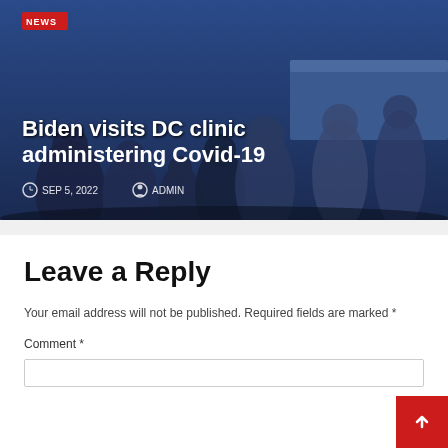[Figure (photo): News article card with photo of Biden visiting a DC clinic, showing a crowd of people including children. Overlaid with title and metadata.]
Biden visits DC clinic administering Covid-19
SEP 5, 2022   ADMIN
Leave a Reply
Your email address will not be published. Required fields are marked *
Comment *